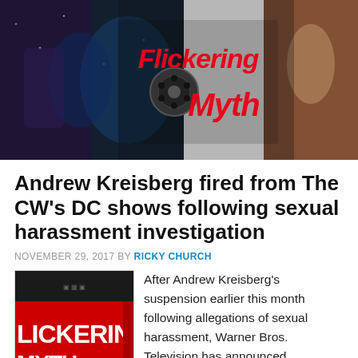[Figure (logo): Flickering Myth website header banner with logo text in red italic font on a dark background with movie poster imagery on left and right sides]
Andrew Kreisberg fired from The CW's DC shows following sexual harassment investigation
NOVEMBER 29, 2017 BY RICKY CHURCH
[Figure (logo): Flickering Myth logo image showing red background with white text FLICKERING and MYTH]
After Andrew Kreisberg's suspension earlier this month following allegations of sexual harassment, Warner Bros. Television has announced he has been fired from his role as executive producer across The CW's line of DC shows